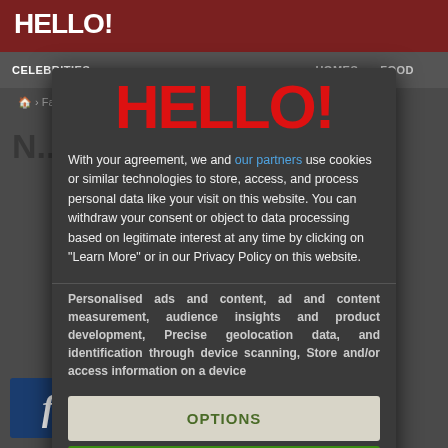HELLO!
CELEBRITIES   HOMES   FOOD
Fashion > Fashion News
[Figure (screenshot): HELLO! magazine website screenshot with GDPR cookie consent modal overlay showing HELLO! logo, consent text, OPTIONS button, and AGREE button]
With your agreement, we and our partners use cookies or similar technologies to store, access, and process personal data like your visit on this website. You can withdraw your consent or object to data processing based on legitimate interest at any time by clicking on "Learn More" or in our Privacy Policy on this website.
Personalised ads and content, ad and content measurement, audience insights and product development, Precise geolocation data, and identification through device scanning, Store and/or access information on a device
OPTIONS
AGREE